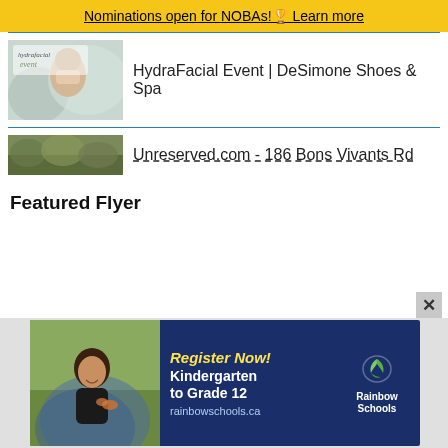Nominations open for NOBAs! Learn more
HydraFacial Event | DeSimone Shoes & Spa
Unreserved.com - 186 Bons Vivants Rd
Featured Flyer
[Figure (photo): Rainbow Schools advertisement: Register Now! Kindergarten to Grade 12 rainbowschools.ca]